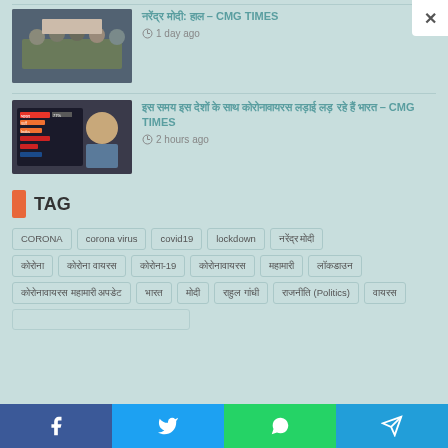[Figure (photo): Meeting scene with people seated around a table]
Hindi text — CMG TIMES · 1 day ago
[Figure (photo): Modi with election results graphic showing party standings]
Hindi text – CMG TIMES · 2 hours ago
TAG
CORONA
corona virus
covid19
lockdown
Hindi tag 1
Hindi tag 2
Hindi tag 3
कोरोना-19
Hindi tag 4
Hindi tag 5
Hindi tag 6
Hindi tag 7
Hindi tag 8 (parenthetical)
Hindi tag 9
Facebook · Twitter · WhatsApp · Telegram share buttons